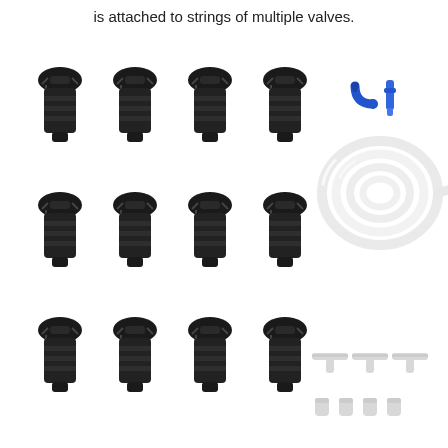is attached to strings of multiple valves.
[Figure (photo): Product photo showing a valve kit: 12 black irrigation valves arranged in a 4x3 grid on the left, plus accessories on the right including a coiled clear tubing, two blue connectors/fittings, three white T-shaped connectors, and four small white end caps.]